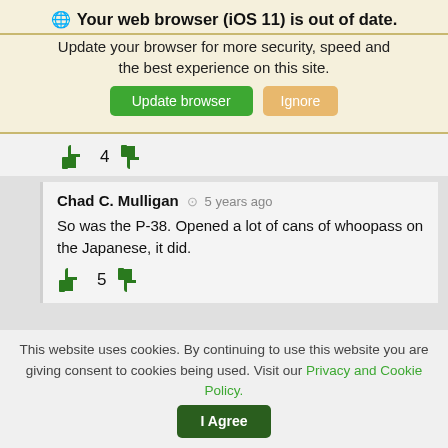🌐 Your web browser (iOS 11) is out of date.
Update your browser for more security, speed and the best experience on this site.
Update browser   Ignore
[Figure (screenshot): Thumbs up icon with count 4 and thumbs down icon (voting row)]
Chad C. Mulligan  🕐 5 years ago
So was the P-38. Opened a lot of cans of whoopass on the Japanese, it did.
[Figure (screenshot): Thumbs up icon with count 5 and thumbs down icon (voting row)]
This website uses cookies. By continuing to use this website you are giving consent to cookies being used. Visit our Privacy and Cookie Policy.   I Agree